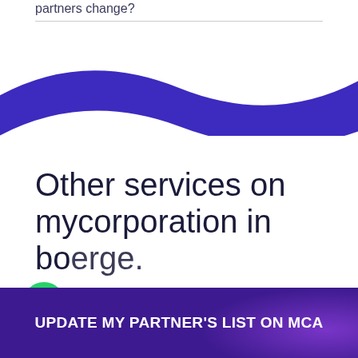partners change?
[Figure (illustration): Purple wave band decorative element spanning full width]
Other services on mycorporation in George.
[Figure (other): WhatsApp green circle button icon]
Questions? Let's Chat
UPDATE MY PARTNER'S LIST ON MCA